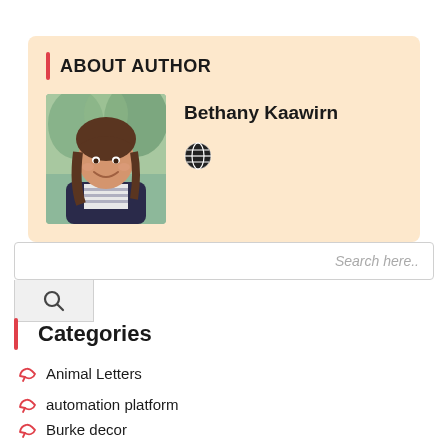ABOUT AUTHOR
Bethany Kaawirn
[Figure (photo): Portrait photo of Bethany Kaawirn, a woman with brown hair smiling, wearing a dark jacket]
Search here..
Categories
Animal Letters
automation platform
Burke decor
Business and Management